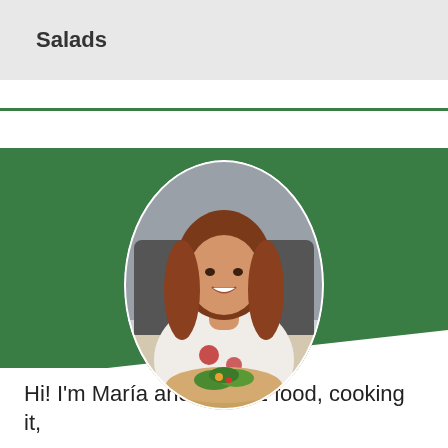Salads
[Figure (photo): Portrait photo of a smiling woman with long red-brown hair, wearing a floral dress and holding a wooden bowl of salad. She is seated in an indoor setting. The image is displayed in an oval crop overlaid on a green banner background.]
Hi! I'm María and I LOVE food, cooking it,